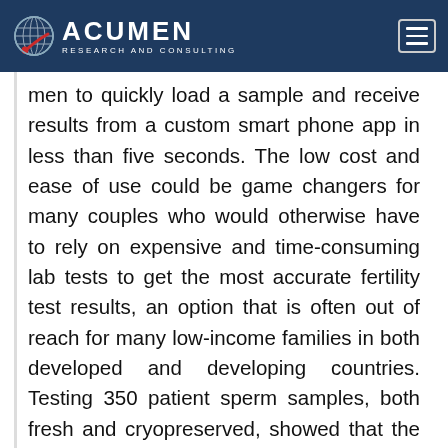Acumen Research and Consulting
men to quickly load a sample and receive results from a custom smart phone app in less than five seconds. The low cost and ease of use could be game changers for many couples who would otherwise have to rely on expensive and time-consuming lab tests to get the most accurate fertility test results, an option that is often out of reach for many low-income families in both developed and developing countries. Testing 350 patient sperm samples, both fresh and cryopreserved, showed that the new smart phone device can detect